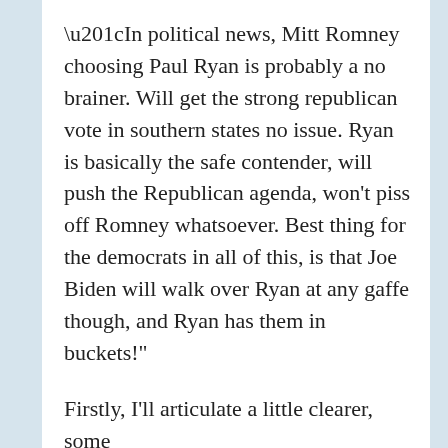“In political news, Mitt Romney choosing Paul Ryan is probably a no brainer. Will get the strong republican vote in southern states no issue. Ryan is basically the safe contender, will push the Republican agenda, won’t piss off Romney whatsoever. Best thing for the democrats in all of this, is that Joe Biden will walk over Ryan at any gaffe though, and Ryan has them in buckets!”
Firstly, I’ll articulate a little clearer, some